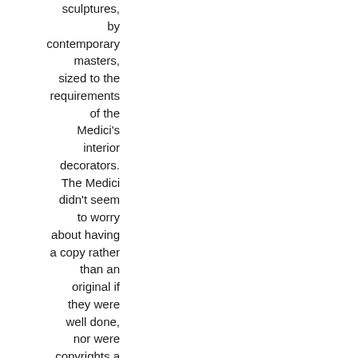sculptures, by contemporary masters, sized to the requirements of the Medici's interior decorators. The Medici didn't seem to worry about having a copy rather than an original if they were well done, nor were copyrights a concern.